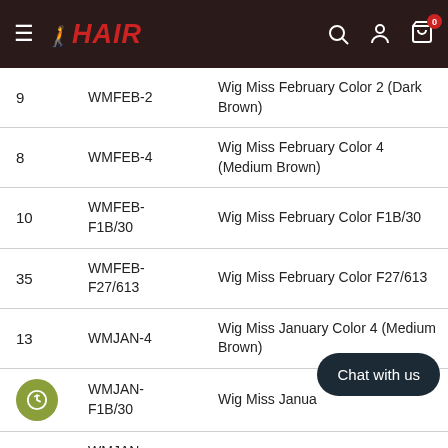ARHAIR — navigation header with search, account, and cart icons
| # | SKU | Product Name |
| --- | --- | --- |
| 9 | WMFEB-2 | Wig Miss February Color 2 (Dark Brown) |
| 8 | WMFEB-4 | Wig Miss February Color 4 (Medium Brown) |
| 10 | WMFEB-F1B/30 | Wig Miss February Color F1B/30 |
| 35 | WMFEB-F27/613 | Wig Miss February Color F27/613 |
| 13 | WMJAN-4 | Wig Miss January Color 4 (Medium Brown) |
| 52 | WMJAN-F1B/30 | Wig Miss January Color F1B/30 |
|  | WMJAN- |  |